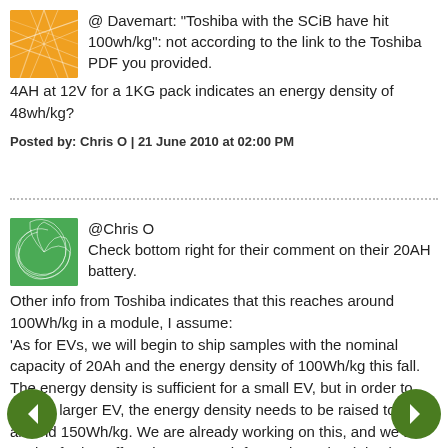@ Davemart: "Toshiba with the SCiB have hit 100wh/kg": not according to the link to the Toshiba PDF you provided. 4AH at 12V for a 1KG pack indicates an energy density of 48wh/kg?
Posted by: Chris O | 21 June 2010 at 02:00 PM
@Chris O
Check bottom right for their comment on their 20AH battery.
Other info from Toshiba indicates that this reaches around 100Wh/kg in a module, I assume:
'As for EVs, we will begin to ship samples with the nominal capacity of 20Ah and the energy density of 100Wh/kg this fall. The energy density is sufficient for a small EV, but in order to drive a larger EV, the energy density needs to be raised to around 150Wh/kg. We are already working on this, and we are putting further efforts into research for EV batteries (Fig.6).'